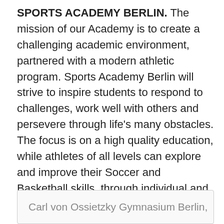SPORTS ACADEMY BERLIN. The mission of our Academy is to create a challenging academic environment, partnered with a modern athletic program. Sports Academy Berlin will strive to inspire students to respond to challenges, work well with others and persevere through life's many obstacles. The focus is on a high quality education, while athletes of all levels can explore and improve their Soccer and Basketball skills, through individual and team sports training. The Gym The gym consists of two main halls with a total size of 1400m2. We have a ring for boxing and Muay Thai, an octagon for MMA and a 200m2 fitness area with cardio equipment, olympic weights, kettlebells etc.
Carl von Ossietzky Gymnasium Berlin,